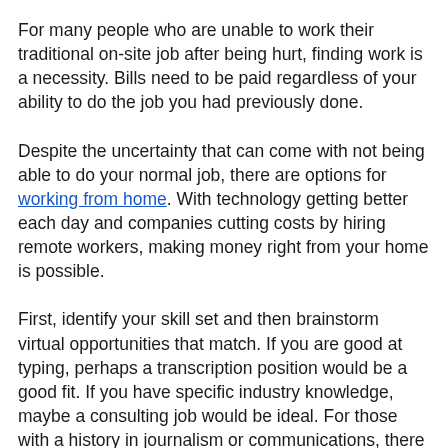For many people who are unable to work their traditional on-site job after being hurt, finding work is a necessity. Bills need to be paid regardless of your ability to do the job you had previously done.
Despite the uncertainty that can come with not being able to do your normal job, there are options for working from home. With technology getting better each day and companies cutting costs by hiring remote workers, making money right from your home is possible.
First, identify your skill set and then brainstorm virtual opportunities that match. If you are good at typing, perhaps a transcription position would be a good fit. If you have specific industry knowledge, maybe a consulting job would be ideal. For those with a history in journalism or communications, there are a plethora of freelance writing gigs out there. If you're extremely organized, a virtual assistant role may be right for you. Some good sites to look for virtual employment